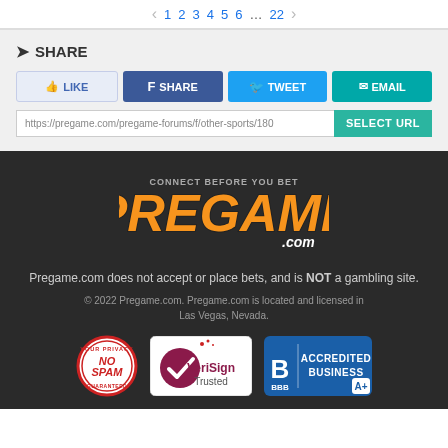< 1 2 3 4 5 6 … 22 >
SHARE
Like | SHARE | TWEET | EMAIL
https://pregame.com/pregame-forums/f/other-sports/180   SELECT URL
[Figure (logo): CONNECT BEFORE YOU BET / PREGAME.com logo on dark background]
Pregame.com does not accept or place bets, and is NOT a gambling site.
© 2022 Pregame.com. Pregame.com is located and licensed in Las Vegas, Nevada.
[Figure (logo): No Spam Guaranteed badge, VeriSign Trusted badge, BBB Accredited Business A+ badge]